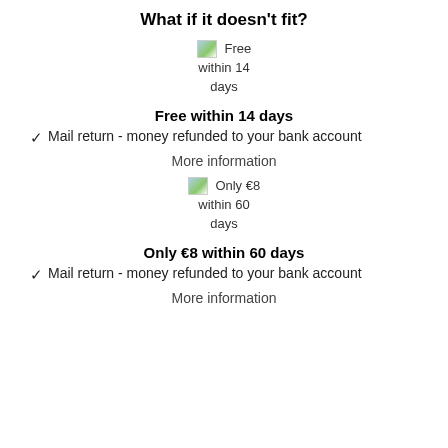What if it doesn't fit?
[Figure (illustration): Icon with image placeholder showing 'Free within 14 days']
Free within 14 days
Mail return - money refunded to your bank account
More information
[Figure (illustration): Icon with image placeholder showing 'Only €8 within 60 days']
Only €8 within 60 days
Mail return - money refunded to your bank account
More information